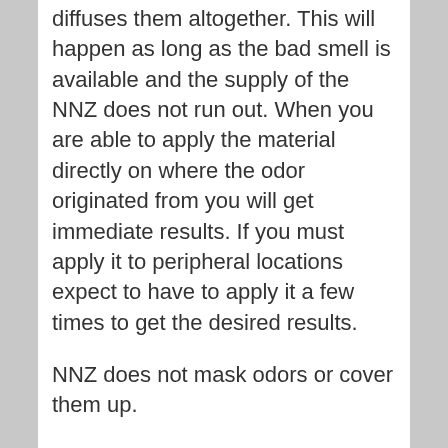diffuses them altogether. This will happen as long as the bad smell is available and the supply of the NNZ does not run out. When you are able to apply the material directly on where the odor originated from you will get immediate results. If you must apply it to peripheral locations expect to have to apply it a few times to get the desired results.
NNZ does not mask odors or cover them up.
INTERNATIONAL CUSTOMERS ORDER HERE